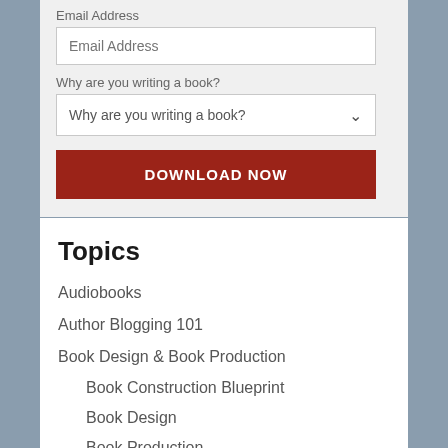Email Address
Email Address (input placeholder)
Why are you writing a book?
Why are you writing a book? (dropdown)
DOWNLOAD NOW
Topics
Audiobooks
Author Blogging 101
Book Design & Book Production
Book Construction Blueprint
Book Design
Book Production
Cover Design